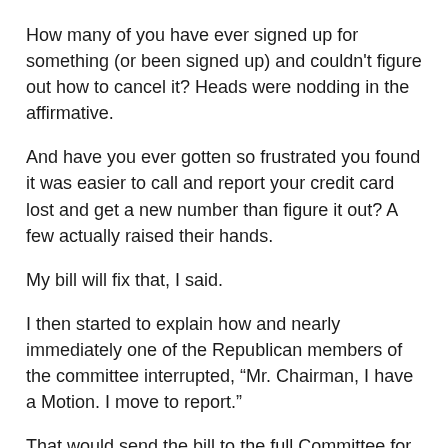How many of you have ever signed up for something (or been signed up) and couldn't figure out how to cancel it? Heads were nodding in the affirmative.
And have you ever gotten so frustrated you found it was easier to call and report your credit card lost and get a new number than figure it out? A few actually raised their hands.
My bill will fix that, I said.
I then started to explain how and nearly immediately one of the Republican members of the committee interrupted, “Mr. Chairman, I have a Motion. I move to report.”
That would send the bill to the full Committee for a vote. Ultimately, the bill passed the House and the Senate unanimously.
The bill had not substantively changed between 2017 and 2018. However, the makeup of the House of Delegates had done so dramatically. Whereas my bills previously would have been dismissed without much cause (and they often